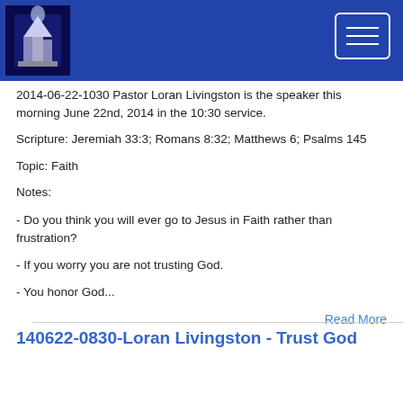2014-06-22-1030 Pastor Loran Livingston is the speaker this morning June 22nd,  2014 in the 10:30 service.
Scripture: Jeremiah 33:3; Romans 8:32; Matthews 6; Psalms 145
Topic: Faith
Notes:
- Do you think you will ever go to Jesus in Faith rather than frustration?
- If you worry you are not trusting God.
- You honor God...
Read More
140622-0830-Loran Livingston - Trust God